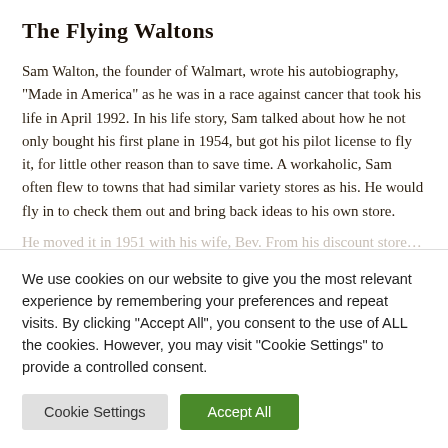The Flying Waltons
Sam Walton, the founder of Walmart, wrote his autobiography, "Made in America" as he was in a race against cancer that took his life in April 1992. In his life story, Sam talked about how he not only bought his first plane in 1954, but got his pilot license to fly it, for little other reason than to save time. A workaholic, Sam often flew to towns that had similar variety stores as his. He would fly in to check them out and bring back ideas to his own store.
We use cookies on our website to give you the most relevant experience by remembering your preferences and repeat visits. By clicking “Accept All”, you consent to the use of ALL the cookies. However, you may visit “Cookie Settings” to provide a controlled consent.